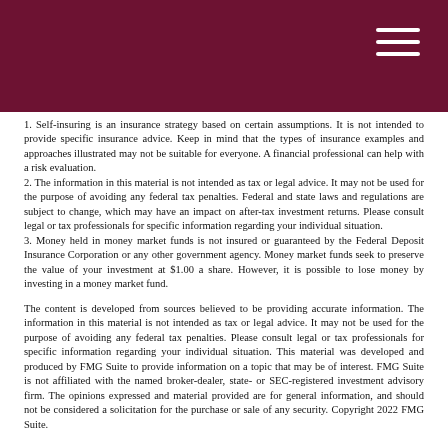1. Self-insuring is an insurance strategy based on certain assumptions. It is not intended to provide specific insurance advice. Keep in mind that the types of insurance examples and approaches illustrated may not be suitable for everyone. A financial professional can help with a risk evaluation.
2. The information in this material is not intended as tax or legal advice. It may not be used for the purpose of avoiding any federal tax penalties. Federal and state laws and regulations are subject to change, which may have an impact on after-tax investment returns. Please consult legal or tax professionals for specific information regarding your individual situation.
3. Money held in money market funds is not insured or guaranteed by the Federal Deposit Insurance Corporation or any other government agency. Money market funds seek to preserve the value of your investment at $1.00 a share. However, it is possible to lose money by investing in a money market fund.
The content is developed from sources believed to be providing accurate information. The information in this material is not intended as tax or legal advice. It may not be used for the purpose of avoiding any federal tax penalties. Please consult legal or tax professionals for specific information regarding your individual situation. This material was developed and produced by FMG Suite to provide information on a topic that may be of interest. FMG Suite is not affiliated with the named broker-dealer, state- or SEC-registered investment advisory firm. The opinions expressed and material provided are for general information, and should not be considered a solicitation for the purchase or sale of any security. Copyright 2022 FMG Suite.